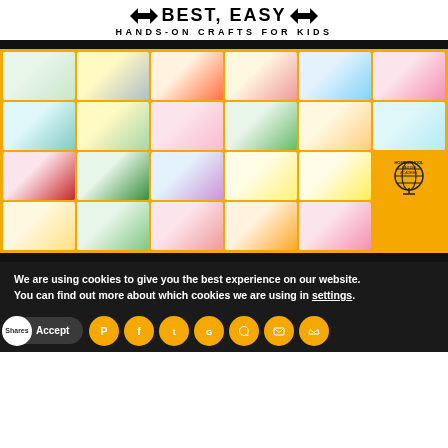BEST, EASY HANDS-ON CRAFTS FOR KIDS
[Figure (illustration): Yellow banner with grid of 23 colorful kids craft project photos and a globe logo, framed by black bars]
We are using cookies to give you the best experience on our website.
You can find out more about which cookies we are using in settings.
Accept
Shares